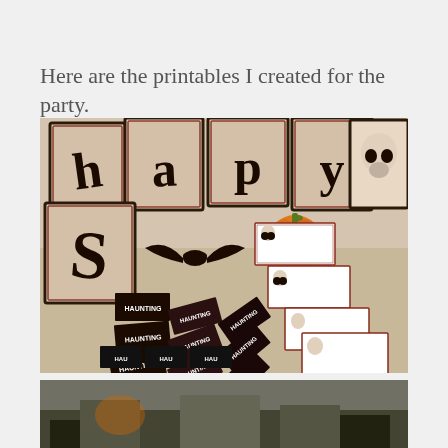Here are the printables I created for the party.
[Figure (photo): Halloween party printables spread on a table including a Happy Halloween banner with spooky letters, food label tent cards with skulls, a bat cutout, a small orange pumpkin, and multiple 'Haunting' labeled cards/tickets arranged on a beige surface.]
[Figure (photo): Partial view of another Halloween party scene, cropped at bottom of page, showing dark themed decorations.]